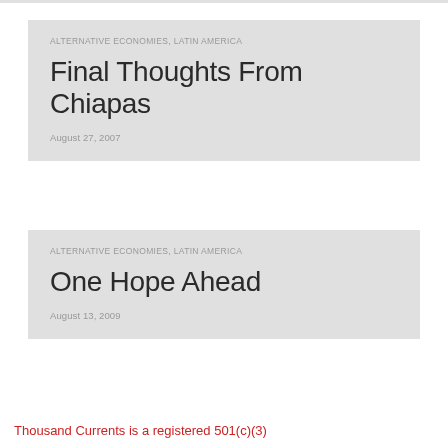ALTERNATIVE ECONOMIES, LATIN AMERICA
Final Thoughts From Chiapas
August 27, 2007
ALTERNATIVE ECONOMIES, LATIN AMERICA
One Hope Ahead
August 13, 2009
Thousand Currents is a registered 501(c)(3)